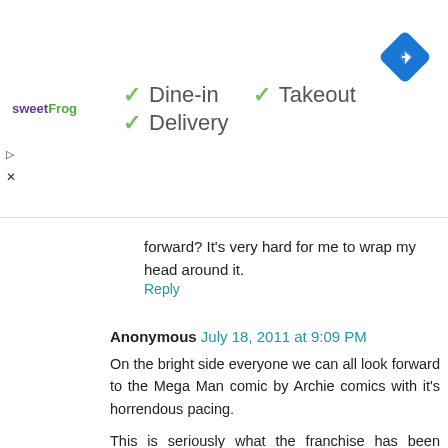[Figure (infographic): Ad banner for sweetFrog showing checkmarks for Dine-in, Takeout, and Delivery options, with a navigation/directions icon on the right.]
forward? It's very hard for me to wrap my head around it.
Reply
Anonymous July 18, 2011 at 9:09 PM
On the bright side everyone we can all look forward to the Mega Man comic by Archie comics with it's horrendous pacing.
This is seriously what the franchise has been reduced to, an awful Archie comic.
Reply
MKVarana July 18, 2011 at 9:11 PM
"Unfortunately it was not felt that the Mega Man Legends 3